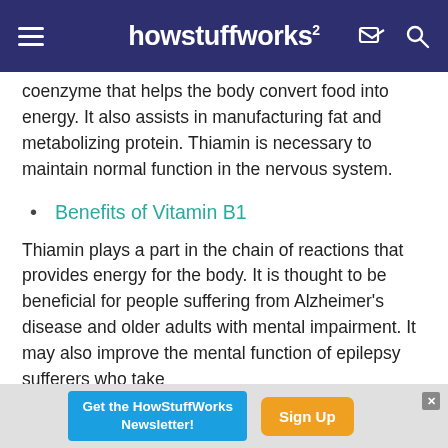howstuffworks
coenzyme that helps the body convert food into energy. It also assists in manufacturing fat and metabolizing protein. Thiamin is necessary to maintain normal function in the nervous system.
Benefits of Vitamin B1
Thiamin plays a part in the chain of reactions that provides energy for the body. It is thought to be beneficial for people suffering from Alzheimer's disease and older adults with mental impairment. It may also improve the mental function of epilepsy sufferers who take
[Figure (screenshot): Advertisement banner: 'Get the HowStuffWorks Newsletter!' with a blue background and an orange 'Sign Up' button]